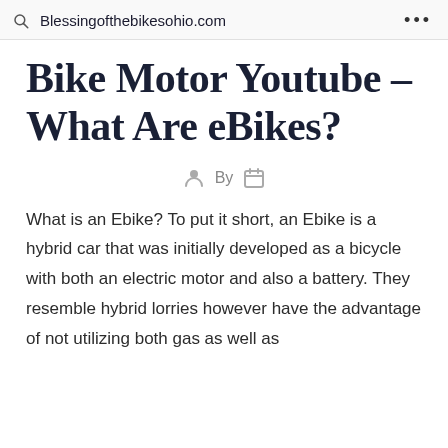Blessingofthebikesohio.com
Bike Motor Youtube – What Are eBikes?
By
What is an Ebike? To put it short, an Ebike is a hybrid car that was initially developed as a bicycle with both an electric motor and also a battery. They resemble hybrid lorries however have the advantage of not utilizing both gas as well as